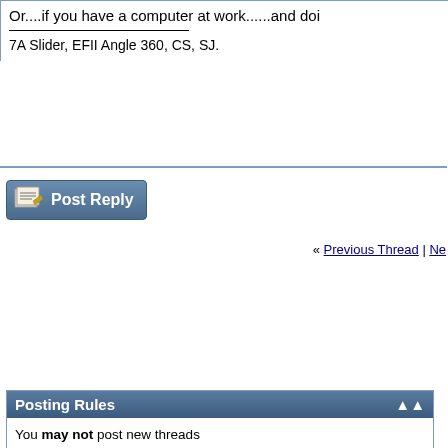Or....if you have a computer at work......and do...
7A Slider, EFII Angle 360, CS, SJ.
[Figure (other): Post Reply button with pencil/paper icon]
« Previous Thread | Ne...
Posting Rules
You may not post new threads
You may not post replies
You may not post attachments
You may not edit your posts
vB code is On
Smilies are On
[IMG] code is On
HTML code is Off
Forum Jump RV-7/7A
All times are GMT -6. The tim...
Contact Us - VAFForums Home - Archive - Privacy Statement - Top
The VAFForums come to you courtesy Delta Romeo, LLC. By viewing and participating in them you agree to build your plane using standardized methods and practices and to fly it safely and in accordance with the laws governing the country you are located in.